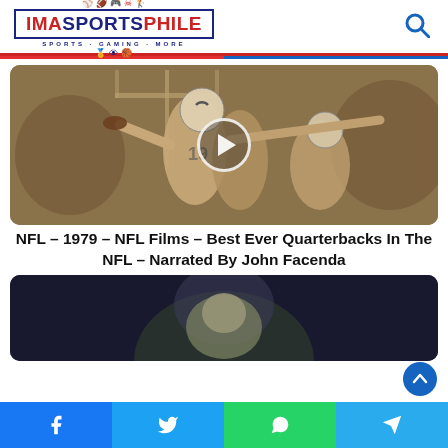IMASPORTSPHILE — Sports · Gaming · More
[Figure (photo): Black and white / sepia photo of NFL football players (Baltimore Colts) in action, with a video play button overlay]
NFL – 1979 – NFL Films – Best Ever Quarterbacks In The NFL – Narrated By John Facenda
[Figure (photo): Dark-toned photo (partially visible) showing a person from behind in a dimly lit setting]
Social share bar: Facebook, Twitter, WhatsApp, Telegram